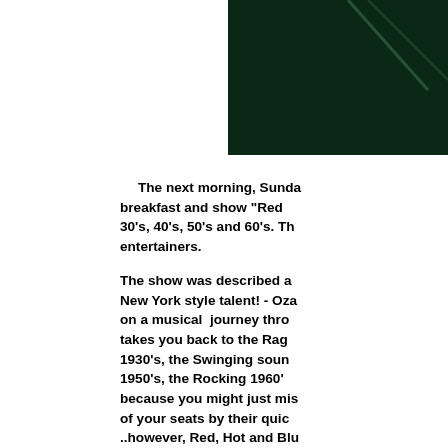[Figure (photo): Partial photo visible in upper right corner, dark green/teal background with some light streaks or reflections]
The next morning, Sunday, we had breakfast and show "Red 30's, 40's, 50's and 60's. Th entertainers.
The show was described a New York style talent! - Oza on a musical journey thro takes you back to the Rag 1930's, the Swinging soun 1950's, the Rocking 1960' because you might just mis of your seats by their quic ..however, Red, Hot and Blu including, the "Charlesto number, and the beautifull Then/I'll Be Seeing You" mo